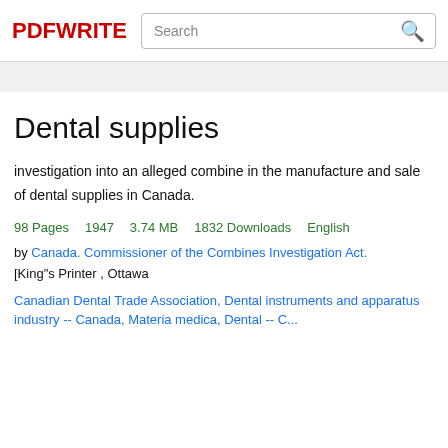PDFWRITE
Dental supplies
investigation into an alleged combine in the manufacture and sale of dental supplies in Canada.
98 Pages    1947    3.74 MB    1832 Downloads    English
by Canada. Commissioner of the Combines Investigation Act.
[King"s Printer , Ottawa
Canadian Dental Trade Association, Dental instruments and apparatus industry -- Canada, Materia medica, Dental -- C...